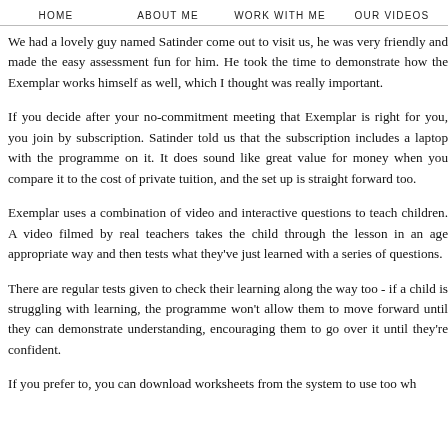HOME   ABOUT ME   WORK WITH ME   OUR VIDEOS
We had a lovely guy named Satinder come out to visit us, he was very friendly and made the easy assessment fun for him. He took the time to demonstrate how the Exemplar works himself as well, which I thought was really important.
If you decide after your no-commitment meeting that Exemplar is right for you, you join by subscription. Satinder told us that the subscription includes a laptop with the programme on it. It does sound like great value for money when you compare it to the cost of private tuition, and the set up is straight forward too.
Exemplar uses a combination of video and interactive questions to teach children. A video filmed by real teachers takes the child through the lesson in an age appropriate way and then tests what they've just learned with a series of questions.
There are regular tests given to check their learning along the way too - if a child is struggling with learning, the programme won't allow them to move forward until they can demonstrate understanding, encouraging them to go over it until they're confident.
If you prefer to, you can download worksheets from the system to use too wh